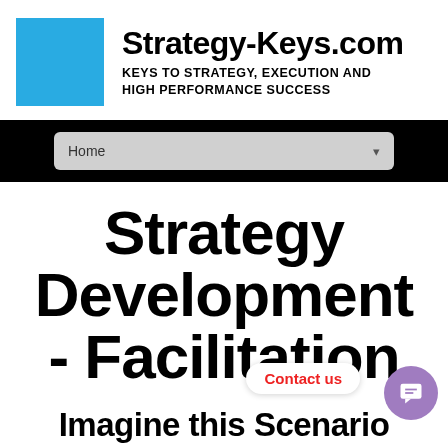[Figure (logo): Strategy-Keys.com logo with blue square and site name and tagline]
Home
Strategy Development - Facilitation
Contact us
Imagine this Scenario